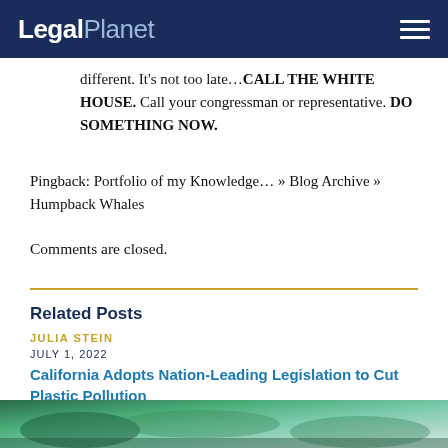LegalPlanet
different. It's not too late…CALL THE WHITE HOUSE. Call your congressman or representative. DO SOMETHING NOW.
Pingback: Portfolio of my Knowledge… » Blog Archive » Humpback Whales
Comments are closed.
Related Posts
JULIA STEIN
JULY 1, 2022
California Adopts Nation-Leading Legislation to Cut Plastic Pollution
[Figure (photo): Bottom image strip showing a nature/ocean scene]